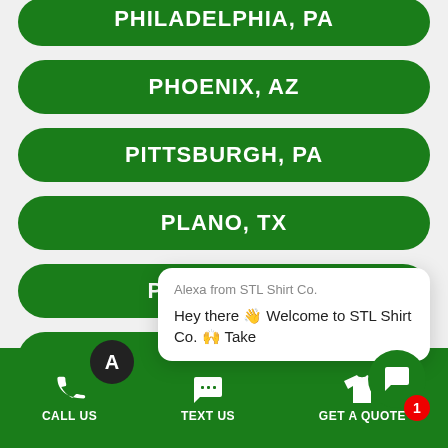PHILADELPHIA, PA
PHOENIX, AZ
PITTSBURGH, PA
PLANO, TX
POMONA, CA
PORT ST (partially visible)
PORTLAND, OR
Alexa from STL Shirt Co.
Hey there 👋 Welcome to STL Shirt Co. 🙌 Take
CALL US   TEXT US   GET A QUOTE